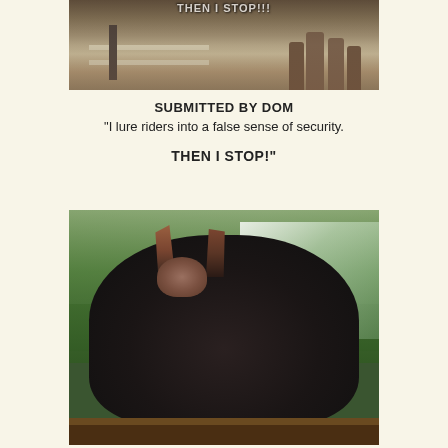[Figure (photo): Photo of a horse at a jump fence in an equestrian arena with text overlay 'THEN I STOP!!!' at the top]
SUBMITTED BY DOM
"I lure riders into a false sense of security.

THEN I STOP!"
[Figure (photo): Close-up rear view of a dark horse's head and ears looking toward green trees, seen from rider's perspective over a fence rail]